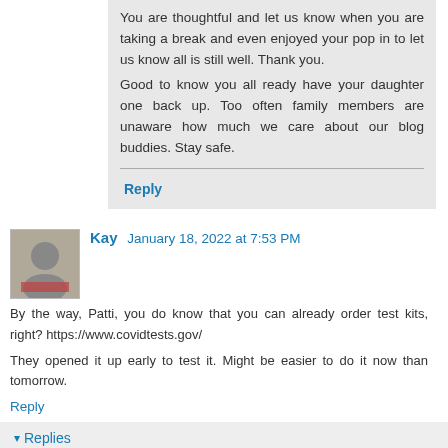You are thoughtful and let us know when you are taking a break and even enjoyed your pop in to let us know all is still well. Thank you.
Good to know you all ready have your daughter one back up. Too often family members are unaware how much we care about our blog buddies. Stay safe.
Reply
Kay  January 18, 2022 at 7:53 PM
By the way, Patti, you do know that you can already order test kits, right? https://www.covidtests.gov/
They opened it up early to test it. Might be easier to do it now than tomorrow.
Reply
Replies
Arkansas Patti  January 18, 2022 at 8:04 PM